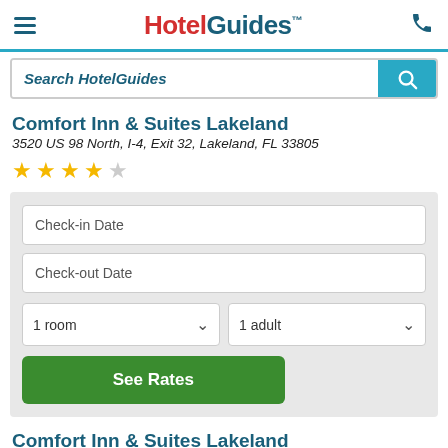HotelGuides™
Search HotelGuides
Comfort Inn & Suites Lakeland
3520 US 98 North, I-4, Exit 32, Lakeland, FL 33805
[Figure (other): 4 out of 5 star rating shown with gold filled stars and one empty star]
Check-in Date
Check-out Date
1 room
1 adult
See Rates
Comfort Inn & Suites Lakeland
3520 US 98 North, I-4, Exit 32, Lakeland, FL 33805